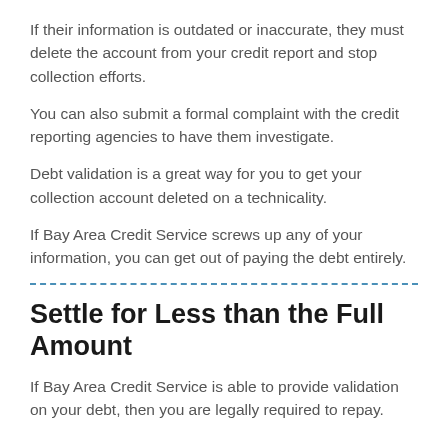If their information is outdated or inaccurate, they must delete the account from your credit report and stop collection efforts.
You can also submit a formal complaint with the credit reporting agencies to have them investigate.
Debt validation is a great way for you to get your collection account deleted on a technicality.
If Bay Area Credit Service screws up any of your information, you can get out of paying the debt entirely.
Settle for Less than the Full Amount
If Bay Area Credit Service is able to provide validation on your debt, then you are legally required to repay.